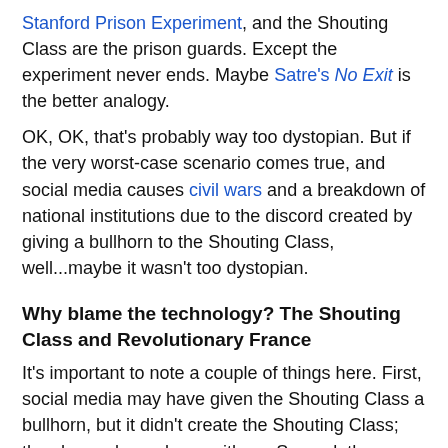Stanford Prison Experiment, and the Shouting Class are the prison guards. Except the experiment never ends. Maybe Satre's No Exit is the better analogy.
OK, OK, that's probably way too dystopian. But if the very worst-case scenario comes true, and social media causes civil wars and a breakdown of national institutions due to the discord created by giving a bullhorn to the Shouting Class, well...maybe it wasn't too dystopian.
Why blame the technology? The Shouting Class and Revolutionary France
It's important to note a couple of things here. First, social media may have given the Shouting Class a bullhorn, but it didn't create the Shouting Class; they have always been with us. Second, the Shouting Class has caused enormous disasters before, even without social media. One fairly clear-cut case is the French Revolution.
The French Revolution started well, with an outpouring of